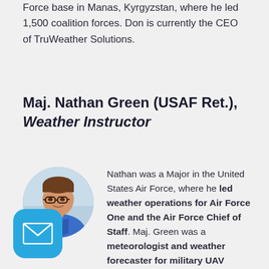Force base in Manas, Kyrgyzstan, where he led 1,500 coalition forces. Don is currently the CEO of TruWeather Solutions.
Maj. Nathan Green (USAF Ret.), Weather Instructor
[Figure (photo): Circular headshot of Maj. Nathan Green, a man wearing glasses and a blue polo shirt, smiling]
Nathan was a Major in the United States Air Force, where he led weather operations for Air Force One and the Air Force Chief of Staff. Maj. Green was a meteorologist and weather forecaster for military UAV
[Figure (logo): Blue rounded square email/mail icon with white envelope symbol]